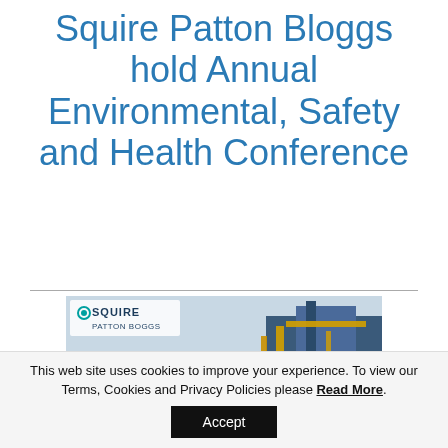Squire Patton Bloggs hold Annual Environmental, Safety and Health Conference
[Figure (photo): Photo showing two workers in hard hats and orange high-visibility vests examining a document at an industrial port site, with the Squire Patton Boggs logo visible in the upper left of the image.]
This web site uses cookies to improve your experience. To view our Terms, Cookies and Privacy Policies please Read More.